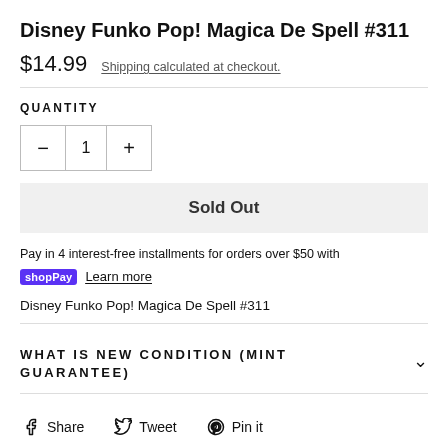Disney Funko Pop! Magica De Spell #311
$14.99  Shipping calculated at checkout.
QUANTITY
− 1 +
Sold Out
Pay in 4 interest-free installments for orders over $50 with shop Pay Learn more
Disney Funko Pop! Magica De Spell #311
WHAT IS NEW CONDITION (MINT GUARANTEE)
Share  Tweet  Pin it